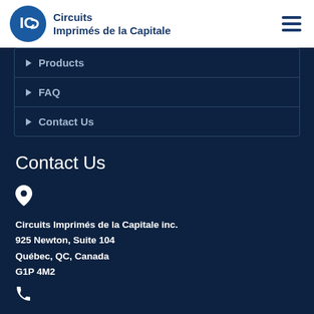[Figure (logo): Circuits Imprimés de la Capitale logo — blue circle with IC monogram and company name in dark blue text]
Products
FAQ
Contact Us
Contact Us
[Figure (other): Map pin / location icon]
Circuits Imprimés de la Capitale inc.
925 Newton, Suite 104
Québec, QC, Canada
G1P 4M2
[Figure (other): Phone icon]